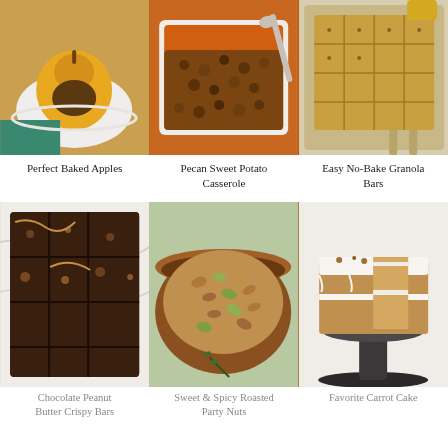[Figure (photo): Baked apple on a white scalloped plate with teal napkin]
Perfect Baked Apples
[Figure (photo): Pecan sweet potato casserole in white baking dish with spoon]
Pecan Sweet Potato Casserole
[Figure (photo): No-bake granola bars cut into squares on a board]
Easy No-Bake Granola Bars
[Figure (photo): Chocolate peanut butter crispy bars cut into squares on marble]
Chocolate Peanut Butter Crispy Bars
[Figure (photo): Bowl of sweet and spicy roasted mixed nuts with rosemary]
Sweet & Spicy Roasted Party Nuts
[Figure (photo): Layered carrot cake on dark cake stand with white frosting]
Favorite Carrot Cake